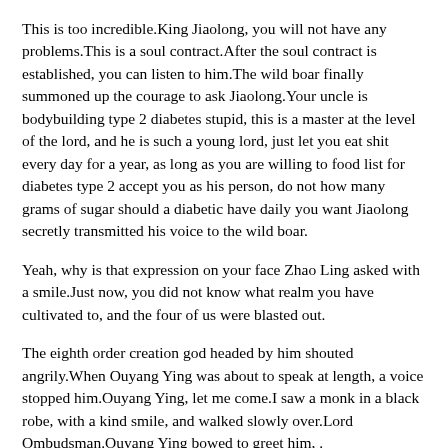This is too incredible.King Jiaolong, you will not have any problems.This is a soul contract.After the soul contract is established, you can listen to him.The wild boar finally summoned up the courage to ask Jiaolong.Your uncle is bodybuilding type 2 diabetes stupid, this is a master at the level of the lord, and he is such a young lord, just let you eat shit every day for a year, as long as you are willing to food list for diabetes type 2 accept you as his person, do not how many grams of sugar should a diabetic have daily you want Jiaolong secretly transmitted his voice to the wild boar.
Yeah, why is that expression on your face Zhao Ling asked with a smile.Just now, you did not know what realm you have cultivated to, and the four of us were blasted out.
The eighth order creation god headed by him shouted angrily.When Ouyang Ying was about to speak at length, a voice stopped him.Ouyang Ying, let me come.I saw a monk in a black robe, with a kind smile, and walked slowly over.Lord Ombudsman.Ouyang Ying bowed to greet him, .
How much sugar can a diabetic have per meal?